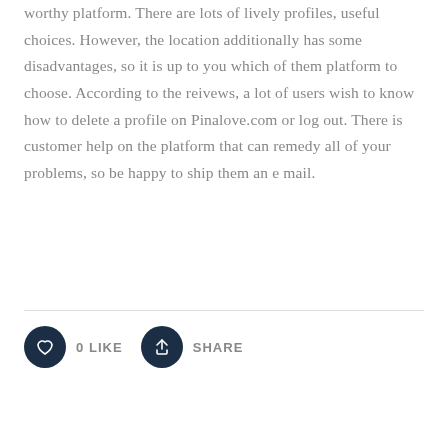worthy platform. There are lots of lively profiles, useful choices. However, the location additionally has some disadvantages, so it is up to you which of them platform to choose. According to the reivews, a lot of users wish to know how to delete a profile on Pinalove.com or log out. There is customer help on the platform that can remedy all of your problems, so be happy to ship them an e mail.
[Figure (other): A horizontal divider line separating the article text from the like and share action buttons below.]
[Figure (infographic): Two action buttons: a heart icon with '0 LIKE' label and a share icon with 'SHARE' label, both icons in dark navy circular buttons.]